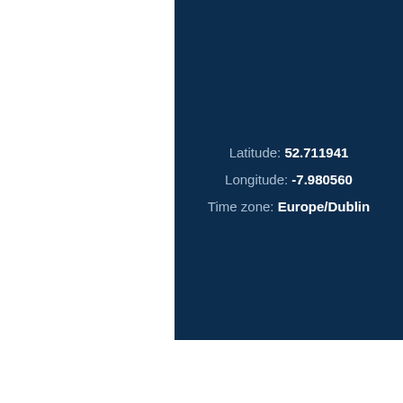Latitude: 52.711941
Longitude: -7.980560
Time zone: Europe/Dublin